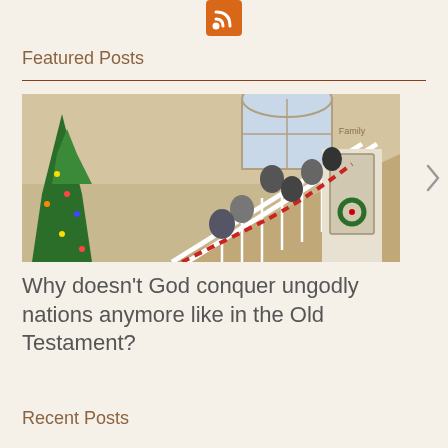[Figure (logo): RSS feed icon — orange square with white wifi/broadcast symbol]
Featured Posts
[Figure (photo): Family photo showing multiple people posing on a staircase decorated with Christmas garland and ribbons, with a lit Christmas tree on the left and a front door with a wreath visible in the background]
Why doesn’t God conquer ungodly nations anymore like in the Old Testament?
Recent Posts